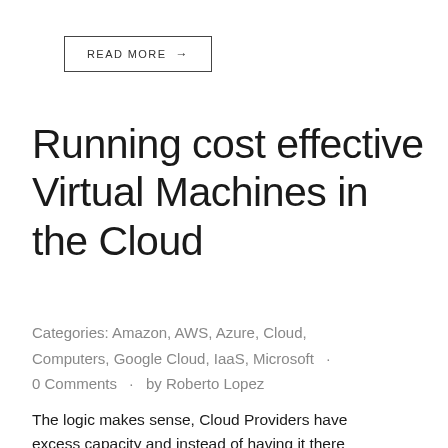READ MORE →
Running cost effective Virtual Machines in the Cloud
Categories: Amazon, AWS, Azure, Cloud, Computers, Google Cloud, IaaS, Microsoft · 0 Comments · by Roberto Lopez
The logic makes sense, Cloud Providers have excess capacity and instead of having it there